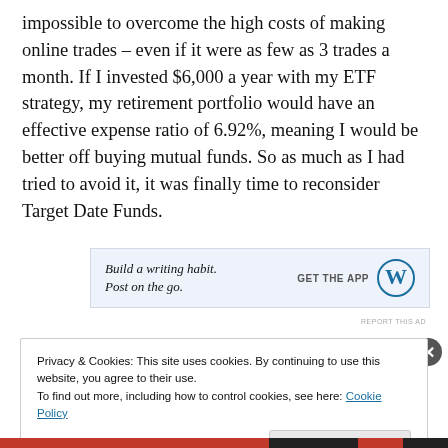impossible to overcome the high costs of making online trades – even if it were as few as 3 trades a month.  If I invested $6,000 a year with my ETF strategy, my retirement portfolio would have an effective expense ratio of 6.92%, meaning I would be better off buying mutual funds.  So as much as I had tried to avoid it, it was finally time to reconsider Target Date Funds.
[Figure (other): WordPress app advertisement banner: 'Build a writing habit. Post on the go.' with GET THE APP button and WordPress logo]
Privacy & Cookies: This site uses cookies. By continuing to use this website, you agree to their use.
To find out more, including how to control cookies, see here: Cookie Policy
Close and accept